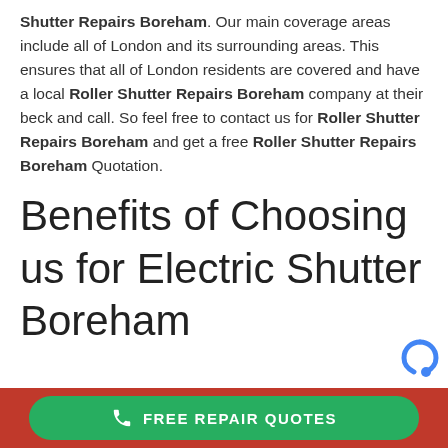Shutter Repairs Boreham. Our main coverage areas include all of London and its surrounding areas. This ensures that all of London residents are covered and have a local Roller Shutter Repairs Boreham company at their beck and call. So feel free to contact us for Roller Shutter Repairs Boreham and get a free Roller Shutter Repairs Boreham Quotation.
Benefits of Choosing us for Electric Shutter Boreham
FREE REPAIR QUOTES